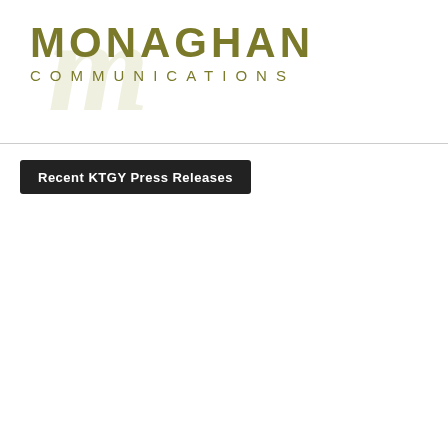[Figure (logo): Monaghan Communications logo with decorative script monogram 'M' watermark in background, and bold gold uppercase text 'MONAGHAN' above spaced uppercase 'COMMUNICATIONS']
Recent KTGY Press Releases